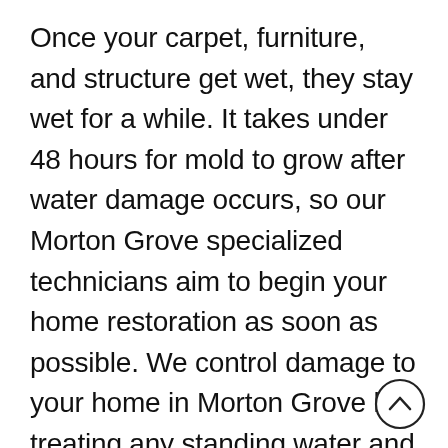Once your carpet, furniture, and structure get wet, they stay wet for a while. It takes under 48 hours for mold to grow after water damage occurs, so our Morton Grove specialized technicians aim to begin your home restoration as soon as possible. We control damage to your home in Morton Grove by treating any standing water and drying and sterilizing the affected areas. Our specialized water damage technicians also identify the source of the water damage to make sure it cannot come back, thus ensuring that your home is better than it was before the
[Figure (other): Circular scroll-up / back-to-top button with an upward chevron arrow, positioned in the bottom-right corner of the page.]